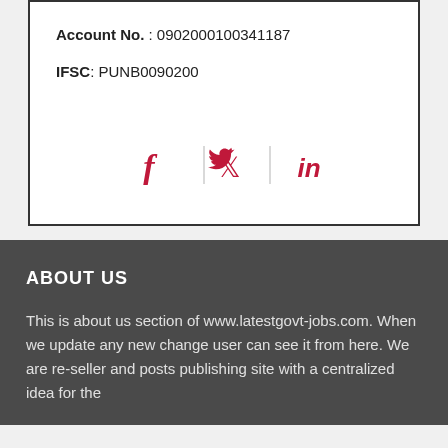Account No. : 0902000100341187
IFSC: PUNB0090200
[Figure (infographic): Social media icons: Facebook (f), Twitter (bird), LinkedIn (in) separated by vertical dividers, displayed in red/crimson color]
ABOUT US
This is about us section of www.latestgovt-jobs.com. When we update any new change user can see it from here. We are re-seller and posts publishing site with a centralized idea for the